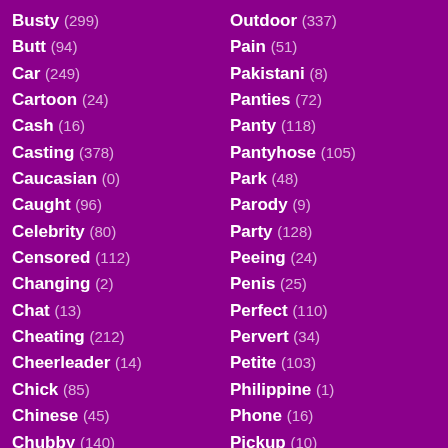Busty (299)
Butt (94)
Car (249)
Cartoon (24)
Cash (16)
Casting (378)
Caucasian (0)
Caught (96)
Celebrity (80)
Censored (112)
Changing (2)
Chat (13)
Cheating (212)
Cheerleader (14)
Chick (85)
Chinese (45)
Chubby (140)
Chunky (2)
Outdoor (337)
Pain (51)
Pakistani (8)
Panties (72)
Panty (118)
Pantyhose (105)
Park (48)
Parody (9)
Party (128)
Peeing (24)
Penis (25)
Perfect (110)
Pervert (34)
Petite (103)
Philippine (1)
Phone (16)
Pickup (10)
Piercing (52)